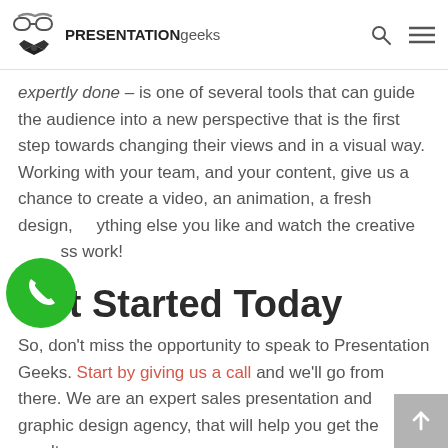PRESENTATIONgeeks
expertly done – is one of several tools that can guide the audience into a new perspective that is the first step towards changing their views and in a visual way. Working with your team, and your content, give us a chance to create a video, an animation, a fresh design, anything else you like and watch the creative process work!
[Figure (illustration): Green circular phone/call button]
Get Started Today
So, don't miss the opportunity to speak to Presentation Geeks. Start by giving us a call and we'll go from there. We are an expert sales presentation and graphic design agency, that will help you get the results you
[Figure (illustration): Grey back-to-top arrow button in bottom right corner]